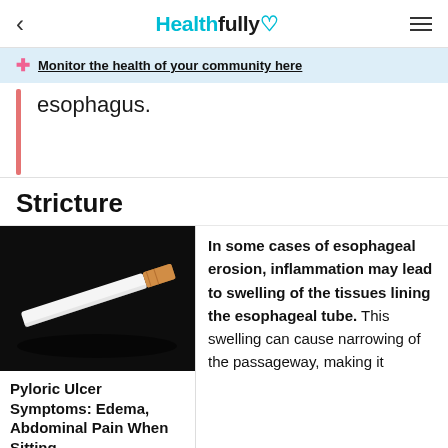Healthfully
Monitor the health of your community here
esophagus.
Stricture
[Figure (photo): A cigarette lying on a dark background]
Pyloric Ulcer Symptoms: Edema, Abdominal Pain When Sitting
Learn More
In some cases of esophageal erosion, inflammation may lead to swelling of the tissues lining the esophageal tube. This swelling can cause narrowing of the passageway, making it